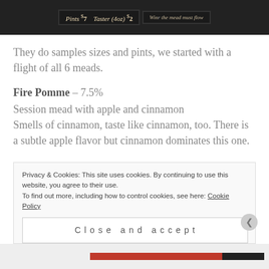[Figure (photo): Chalkboard menu showing 'Pints $7  Taster (4oz) $2' and another board with partial text 'Win... the mead must flow']
They do samples sizes and pints, we started with a flight of all 6 meads.
Fire Pomme – 7.5%
Session mead with apple and cinnamon
Smells of cinnamon, taste like cinnamon, too. There is a subtle apple flavor but cinnamon dominates this one.
Privacy & Cookies: This site uses cookies. By continuing to use this website, you agree to their use.
To find out more, including how to control cookies, see here: Cookie Policy
Close and accept